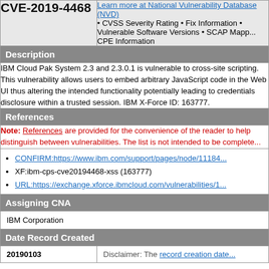CVE-2019-4468
Learn more at National Vulnerability Database (NVD) • CVSS Severity Rating • Fix Information • Vulnerable Software Versions • SCAP Mappings • CPE Information
Description
IBM Cloud Pak System 2.3 and 2.3.0.1 is vulnerable to cross-site scripting. This vulnerability allows users to embed arbitrary JavaScript code in the Web UI thus altering the intended functionality potentially leading to credentials disclosure within a trusted session. IBM X-Force ID: 163777.
References
Note: References are provided for the convenience of the reader to help distinguish between vulnerabilities. The list is not intended to be complete.
CONFIRM:https://www.ibm.com/support/pages/node/11184...
XF:ibm-cps-cve20194468-xss (163777)
URL:https://exchange.xforce.ibmcloud.com/vulnerabilities/1...
Assigning CNA
IBM Corporation
Date Record Created
20190103
Disclaimer: The record creation date...